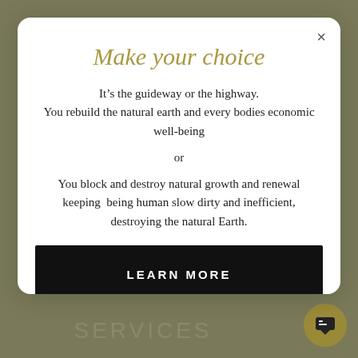Make your choice
It’s the guideway or the highway.
You rebuild the natural earth and every bodies economic well-being
or
You block and destroy natural growth and renewal keeping  being human slow dirty and inefficient, destroying the natural Earth.
LEARN MORE
SERVICES